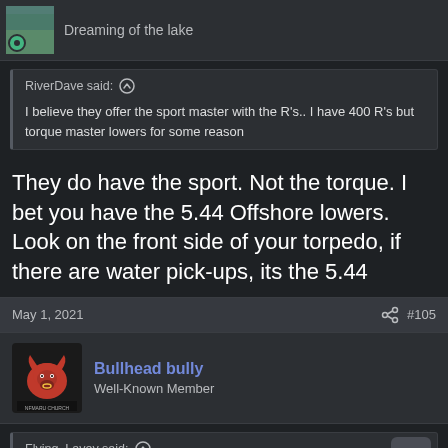Dreaming of the lake
RiverDave said: ↑
I believe they offer the sport master with the R's.. I have 400 R's but torque master lowers for some reason
They do have the sport. Not the torque. I bet you have the 5.44 Offshore lowers. Look on the front side of your torpedo, if there are water pick-ups, its the 5.44
May 1, 2021
#105
Bullhead bully
Well-Known Member
Flying_Lavey said: ↑